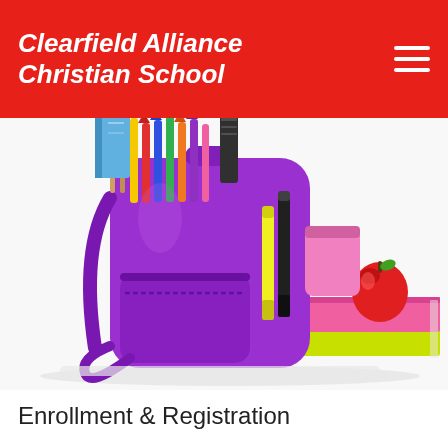Clearfield Alliance Christian School
[Figure (photo): A purple backpack filled with colored pencils, notebooks, paintbrushes, and school supplies, next to stacked pink and green books with a red apple on top, on a white background.]
Enrollment & Registration